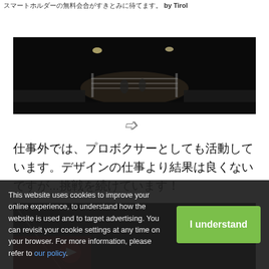スマートホルダーの無料会合がすきとみに待てます。 by Tirol
[Figure (photo): Black and white photograph of a boxing arena at night with a boxing ring visible and audience seating around it, taken from a wide angle.]
仕事外では、プロボクサーとしても活動しています。デザインの仕事より結果は良くないですが...挑戦を続けています！
[Figure (photo): Dark photograph, partially visible at bottom of page, appears to show boxing ring ropes or similar sports setting.]
This website uses cookies to improve your online experience, to understand how the website is used and to target advertising. You can revisit your cookie settings at any time on your browser. For more information, please refer to our policy.